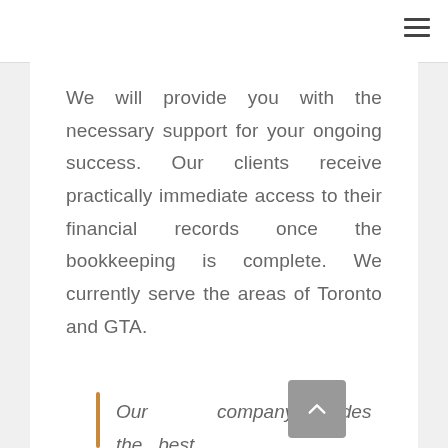We will provide you with the necessary support for your ongoing success. Our clients receive practically immediate access to their financial records once the bookkeeping is complete. We currently serve the areas of Toronto and GTA.
Our company provides the best